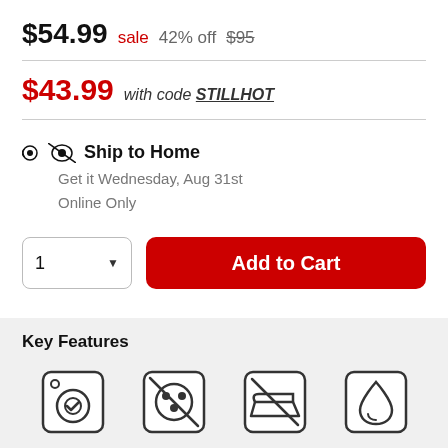$54.99 sale  42% off  $95
$43.99 with code STILLHOT
Ship to Home
Get it Wednesday, Aug 31st
Online Only
[Figure (screenshot): Quantity selector showing '1' with dropdown arrow, and red 'Add to Cart' button]
Key Features
[Figure (infographic): Four product feature icons: washer-safe, no tumble dry, do not iron, water resistant]